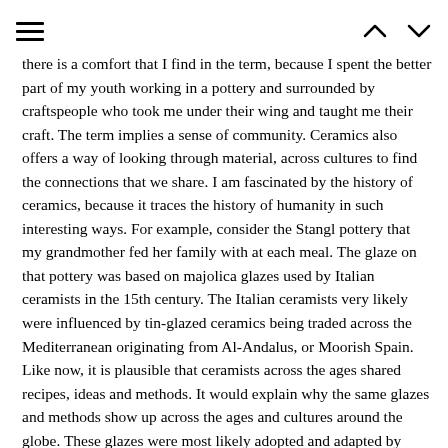≡  ∧  ∨
there is a comfort that I find in the term, because I spent the better part of my youth working in a pottery and surrounded by craftspeople who took me under their wing and taught me their craft. The term implies a sense of community. Ceramics also offers a way of looking through material, across cultures to find the connections that we share. I am fascinated by the history of ceramics, because it traces the history of humanity in such interesting ways. For example, consider the Stangl pottery that my grandmother fed her family with at each meal. The glaze on that pottery was based on majolica glazes used by Italian ceramists in the 15th century. The Italian ceramists very likely were influenced by tin-glazed ceramics being traded across the Mediterranean originating from Al-Andalus, or Moorish Spain. Like now, it is plausible that ceramists across the ages shared recipes, ideas and methods. It would explain why the same glazes and methods show up across the ages and cultures around the globe. These glazes were most likely adopted and adapted by artisans traveling with the Islamic caliphate that spread across north Africa and into the Iberian Peninsula. Historians can trace these glazes through Egypt, Syria, and into Persia. Some theories speculate that